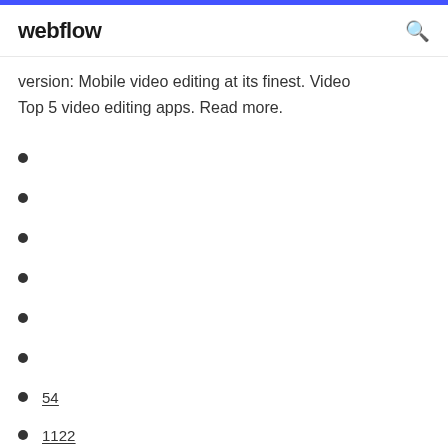webflow
version: Mobile video editing at its finest. Video Top 5 video editing apps. Read more.
54
1122
1096
324